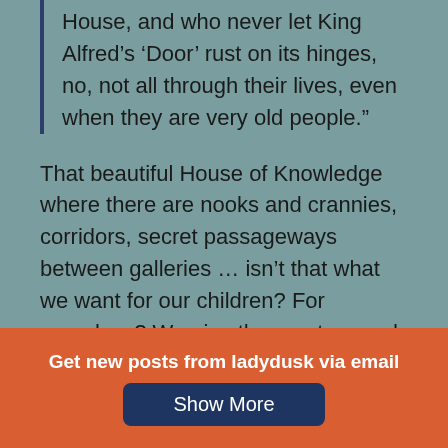House, and who never let King Alfred's 'Door' rust on its hinges, no, not all through their lives, even when they are very old people."
That beautiful House of Knowledge where there are nooks and crannies, corridors, secret passageways between galleries … isn't that what we want for our children? For ourselves? We give them entree and a little help navigating during their school days, but it is a place of delight for the whole life. They learn to wander and love the halls and passageways of that vast House under our care, but it soon becomes a place of exploration
Get new posts from ladydusk via email